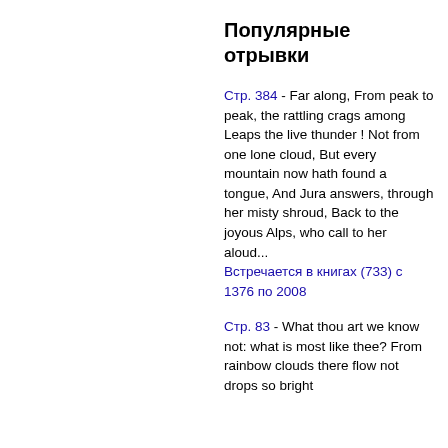Популярные отрывки
Стр. 384 - Far along, From peak to peak, the rattling crags among Leaps the live thunder ! Not from one lone cloud, But every mountain now hath found a tongue, And Jura answers, through her misty shroud, Back to the joyous Alps, who call to her aloud... Встречается в книгах (733) с 1376 по 2008
Стр. 83 - What thou art we know not: what is most like thee? From rainbow clouds there flow not drops so bright